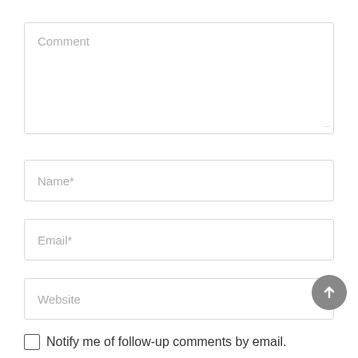Comment
Name*
Email*
Website
Notify me of follow-up comments by email.